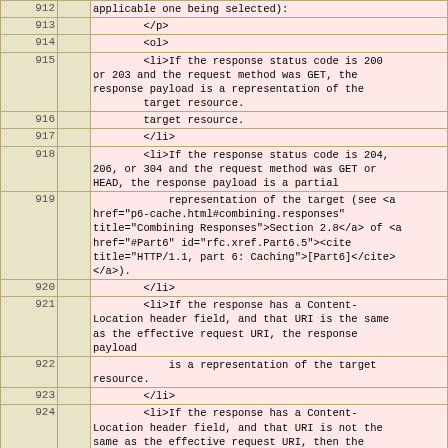| Line |  | Code |
| --- | --- | --- |
| 912 |  | applicable one being selected): |
| 913 |  |     </p> |
| 914 |  |     <ol> |
| 915 |  |         <li>If the response status code is 200
or 203 and the request method was GET, the
response payload is a representation of the
        target resource. |
| 916 |  |         target resource. |
| 917 |  |         </li> |
| 918 |  |         <li>If the response status code is 204,
206, or 304 and the request method was GET or
HEAD, the response payload is a partial |
| 919 |  |             representation of the target (see <a
href="p6-cache.html#combining.responses"
title="Combining Responses">Section 2.8</a> of <a
href="#Part6" id="rfc.xref.Part6.5"><cite
title="HTTP/1.1, part 6: Caching">[Part6]</cite>
</a>). |
| 920 |  |         </li> |
| 921 |  |         <li>If the response has a Content-
Location header field, and that URI is the same
as the effective request URI, the response
payload |
| 922 |  |             is a representation of the target
resource. |
| 923 |  |         </li> |
| 924 |  |         <li>If the response has a Content-
Location header field, and that URI is not the
same as the effective request URI, then the
response |
| 925 |  |             asserts that its payload is a
representation of the resource identified by the
Content-Location URI. However, such an assertion |
| 926 |  |             cannot be trusted unless it can be
verified by other means (not defined by HTTP). |
| 927 |  |         </li> |